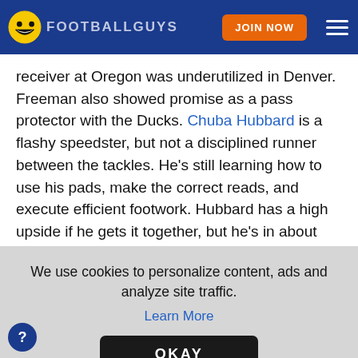FOOTBALLGUYS | JOIN NOW
receiver at Oregon was underutilized in Denver. Freeman also showed promise as a pass protector with the Ducks. Chuba Hubbard is a flashy speedster, but not a disciplined runner between the tackles. He's still learning how to use his pads, make the correct reads, and execute efficient footwork. Hubbard has a high upside if he gets it together, but he's in about the same spot Tevin
We use cookies to personalize content, ads and analyze site traffic.
Learn More
OKAY
pace to Christian McCaffrey. Yes, McCaffrey is one